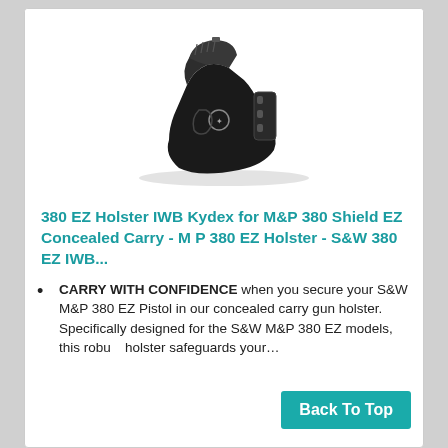[Figure (photo): Product photo of a black IWB Kydex holster with a pistol inserted, shown at an angle on a white background.]
380 EZ Holster IWB Kydex for M&P 380 Shield EZ Concealed Carry - M P 380 EZ Holster - S&W 380 EZ IWB...
CARRY WITH CONFIDENCE when you secure your S&W M&P 380 EZ Pistol in our concealed carry gun holster. Specifically designed for the S&W M&P 380 EZ models, this robust holster safeguards your...